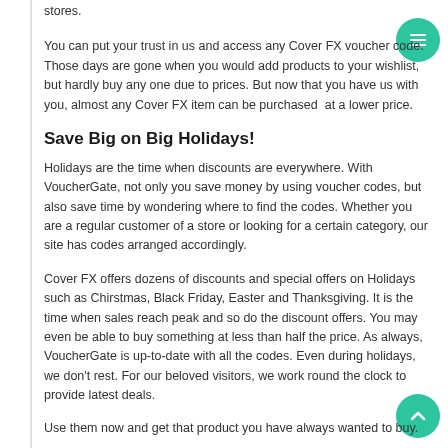stores.
You can put your trust in us and access any Cover FX voucher code. Those days are gone when you would add products to your wishlist, but hardly buy any one due to prices. But now that you have us with you, almost any Cover FX item can be purchased at a lower price.
Save Big on Big Holidays!
Holidays are the time when discounts are everywhere. With VoucherGate, not only you save money by using voucher codes, but also save time by wondering where to find the codes. Whether you are a regular customer of a store or looking for a certain category, our site has codes arranged accordingly.
Cover FX offers dozens of discounts and special offers on Holidays such as Chirstmas, Black Friday, Easter and Thanksgiving. It is the time when sales reach peak and so do the discount offers. You may even be able to buy something at less than half the price. As always, VoucherGate is up-to-date with all the codes. Even during holidays, we don't rest. For our beloved visitors, we work round the clock to provide latest deals.
Use them now and get that product you have always wanted to buy.